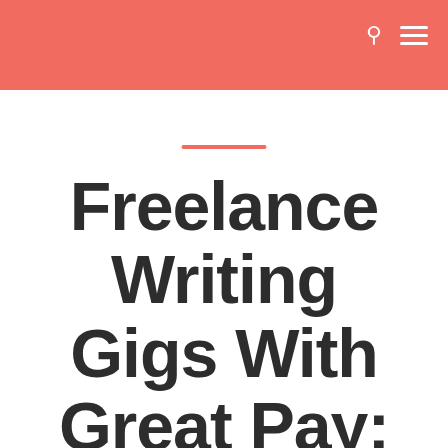Freelance Writing Gigs With Great Pay: 50 Niches to